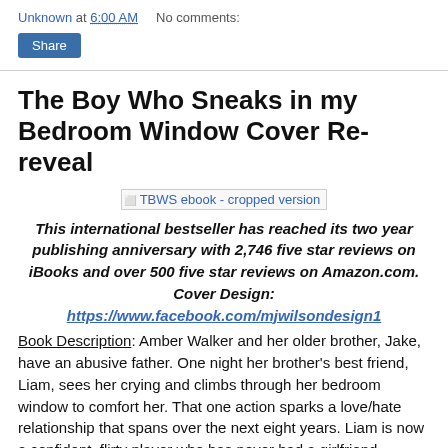Unknown at 6:00 AM    No comments:
Share
The Boy Who Sneaks in my Bedroom Window Cover Re-reveal
[Figure (other): Broken image placeholder labeled 'TBWS ebook - cropped version']
This international bestseller has reached its two year publishing anniversary with 2,746 five star reviews on iBooks and over 500 five star reviews on Amazon.com. Cover Design: https://www.facebook.com/mjwilsondesign1
Book Description: Amber Walker and her older brother, Jake, have an abusive father. One night her brother's best friend, Liam, sees her crying and climbs through her bedroom window to comfort her. That one action sparks a love/hate relationship that spans over the next eight years. Liam is now a confident, flirty player who has never had a girlfriend